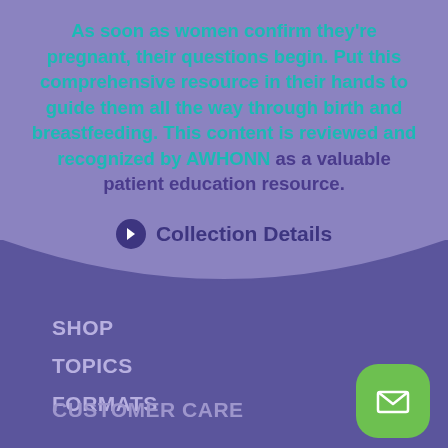As soon as women confirm they're pregnant, their questions begin. Put this comprehensive resource in their hands to guide them all the way through birth and breastfeeding. This content is reviewed and recognized by AWHONN as a valuable patient education resource.
Collection Details
SHOP
TOPICS
FORMATS
CUSTOMER CARE